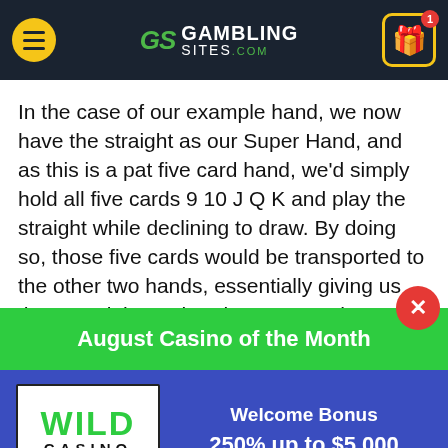GambingSites.com
In the case of our example hand, we now have the straight as our Super Hand, and as this is a pat five card hand, we'd simply hold all five cards 9 10 J Q K and play the straight while declining to draw. By doing so, those five cards would be transported to the other two hands, essentially giving us three straights rather than one on the screen.
Once all three hands are completed, the game pays out
August Casino of the Month
Welcome Bonus
250% up to $5,000
VISIT SITE ▶